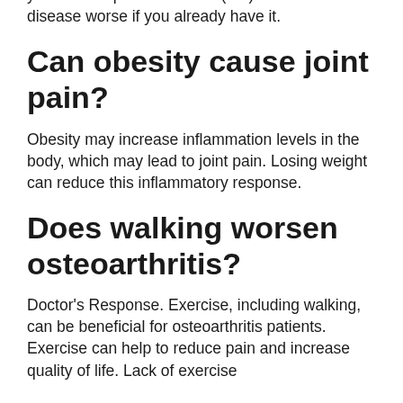you'll develop osteoarthritis (OA) or make the disease worse if you already have it.
Can obesity cause joint pain?
Obesity may increase inflammation levels in the body, which may lead to joint pain. Losing weight can reduce this inflammatory response.
Does walking worsen osteoarthritis?
Doctor's Response. Exercise, including walking, can be beneficial for osteoarthritis patients. Exercise can help to reduce pain and increase quality of life. Lack of exercise...